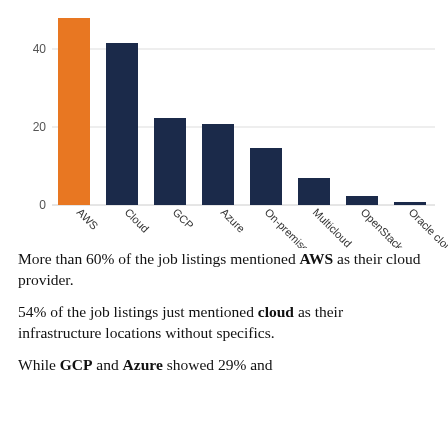[Figure (bar-chart): ]
More than 60% of the job listings mentioned AWS as their cloud provider.
54% of the job listings just mentioned cloud as their infrastructure locations without specifics.
While GCP and Azure showed 29% and